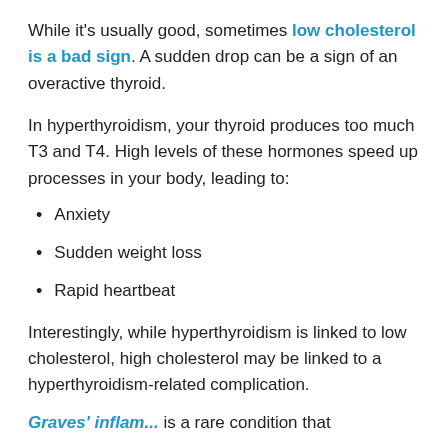While it's usually good, sometimes low cholesterol is a bad sign. A sudden drop can be a sign of an overactive thyroid.
In hyperthyroidism, your thyroid produces too much T3 and T4. High levels of these hormones speed up processes in your body, leading to:
Anxiety
Sudden weight loss
Rapid heartbeat
Interestingly, while hyperthyroidism is linked to low cholesterol, high cholesterol may be linked to a hyperthyroidism-related complication.
Graves' disease is a rare condition that...